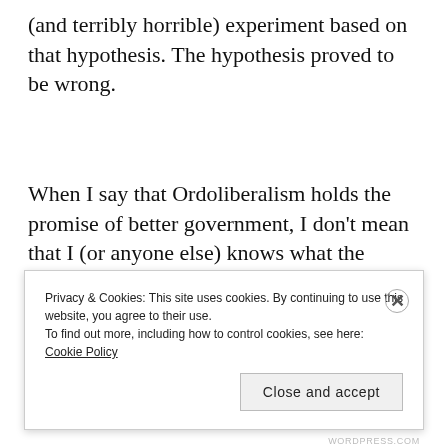(and terribly horrible) experiment based on that hypothesis. The hypothesis proved to be wrong.
When I say that Ordoliberalism holds the promise of better government, I don't mean that I (or anyone else) knows what the optimal policy mix is with a great deal of certainty (if such a thing can even be said to exist). What I mean is that we can approach
Privacy & Cookies: This site uses cookies. By continuing to use this website, you agree to their use.
To find out more, including how to control cookies, see here: Cookie Policy
Close and accept